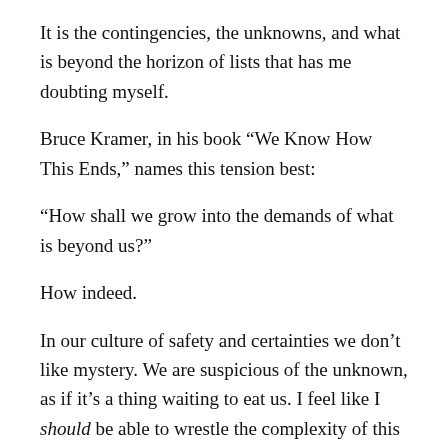It is the contingencies, the unknowns, and what is beyond the horizon of lists that has me doubting myself.
Bruce Kramer, in his book “We Know How This Ends,” names this tension best:
“How shall we grow into the demands of what is beyond us?”
How indeed.
In our culture of safety and certainties we don’t like mystery. We are suspicious of the unknown, as if it’s a thing waiting to eat us. I feel like I should be able to wrestle the complexity of this moment into a clear sense of focus. That expectation is not